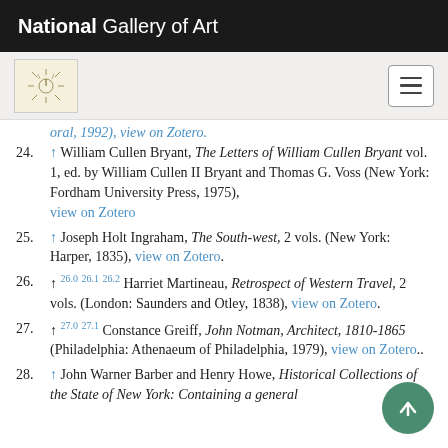National Gallery of Art
...oral, 1992), view on Zotero.
24. ↑ William Cullen Bryant, The Letters of William Cullen Bryant vol. 1, ed. by William Cullen II Bryant and Thomas G. Voss (New York: Fordham University Press, 1975), view on Zotero
25. ↑ Joseph Holt Ingraham, The South-west, 2 vols. (New York: Harper, 1835), view on Zotero.
26. ↑ 26.0 26.1 26.2 Harriet Martineau, Retrospect of Western Travel, 2 vols. (London: Saunders and Otley, 1838), view on Zotero.
27. ↑ 27.0 27.1 Constance Greiff, John Notman, Architect, 1810-1865 (Philadelphia: Athenaeum of Philadelphia, 1979), view on Zotero..
28. ↑ John Warner Barber and Henry Howe, Historical Collections of the State of New York: Containing a general